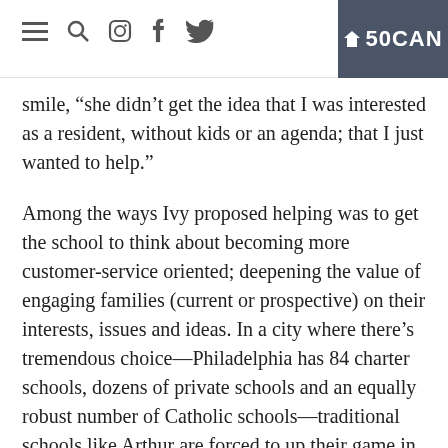Navigation bar with hamburger, search, instagram, facebook, twitter icons and 50CAN logo
smile, “she didn’t get the idea that I was interested as a resident, without kids or an agenda; that I just wanted to help.”
Among the ways Ivy proposed helping was to get the school to think about becoming more customer-service oriented; deepening the value of engaging families (current or prospective) on their interests, issues and ideas. In a city where there’s tremendous choice—Philadelphia has 84 charter schools, dozens of private schools and an equally robust number of Catholic schools—traditional schools like Arthur are forced to up their game in ways that sometimes feel foreign to the school’s way of doing things. There were also competing options in-